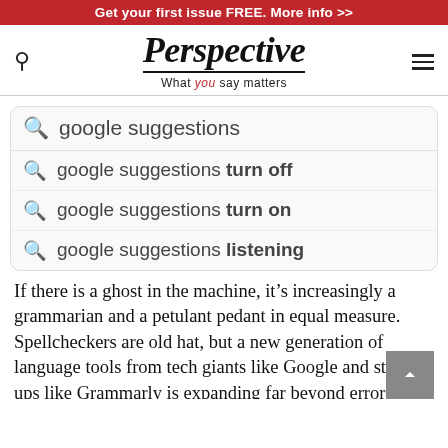Get your first issue FREE. More info >>
Perspective — What you say matters
[Figure (screenshot): Google search autocomplete suggestions screenshot showing: 'google suggestions' as typed query, with three suggestions below: 'google suggestions turn off', 'google suggestions turn on', 'google suggestions listening']
If there is a ghost in the machine, it's increasingly a grammarian and a petulant pedant in equal measure. Spellcheckers are old hat, but a new generation of language tools from tech giants like Google and start-ups like Grammarly is expanding far beyond error